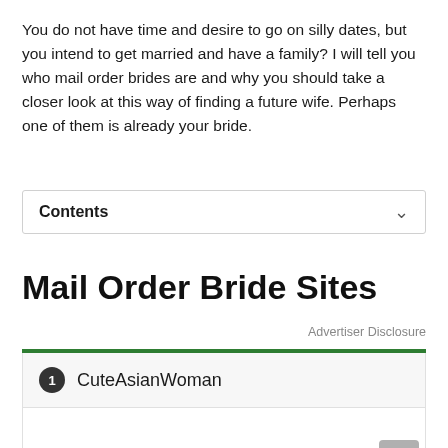You do not have time and desire to go on silly dates, but you intend to get married and have a family? I will tell you who mail order brides are and why you should take a closer look at this way of finding a future wife. Perhaps one of them is already your bride.
Contents
Mail Order Bride Sites
Advertiser Disclosure
1  CuteAsianWoman